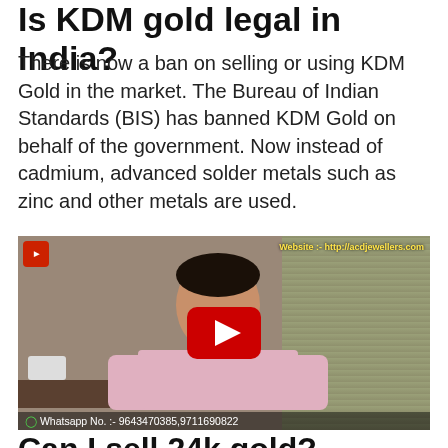Is KDM gold legal in India?
There is now a ban on selling or using KDM Gold in the market. The Bureau of Indian Standards (BIS) has banned KDM Gold on behalf of the government. Now instead of cadmium, advanced solder metals such as zinc and other metals are used.
[Figure (screenshot): YouTube video thumbnail showing a man in a pink shirt sitting at a desk, with website overlay text 'Website :- http://acdjewellers.com' and WhatsApp numbers '9643470385 9711690822' at the bottom. A red YouTube play button is centered on the image.]
Can I sell 24k gold?